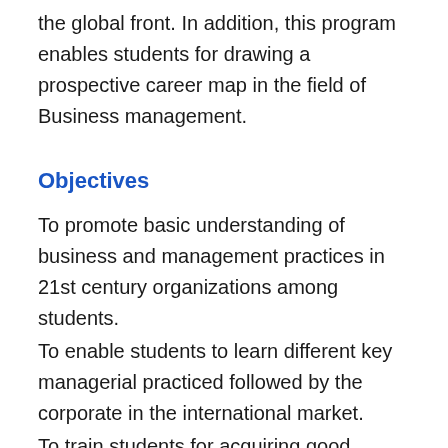the global front. In addition, this program enables students for drawing a prospective career map in the field of Business management.
Objectives
To promote basic understanding of business and management practices in 21st century organizations among students.
To enable students to learn different key managerial practiced followed by the corporate in the international market.
To train students for acquiring good communication, interpersonal and entrepreneurial skills.
To develop the students...